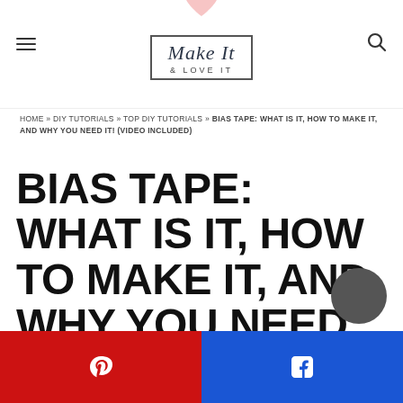Make It & Love It
HOME » DIY TUTORIALS » TOP DIY TUTORIALS » BIAS TAPE: WHAT IS IT, HOW TO MAKE IT, AND WHY YOU NEED IT! (VIDEO INCLUDED)
BIAS TAPE: WHAT IS IT, HOW TO MAKE IT, AND WHY YOU NEED IT! (VIDEO INCLUDED)